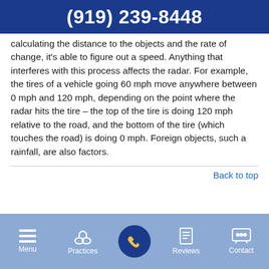(919) 239-8448
calculating the distance to the objects and the rate of change, it's able to figure out a speed. Anything that interferes with this process affects the radar. For example, the tires of a vehicle going 60 mph move anywhere between 0 mph and 120 mph, depending on the point where the radar hits the tire – the top of the tire is doing 120 mph relative to the road, and the bottom of the tire (which touches the road) is doing 0 mph. Foreign objects, such a rainfall, are also factors.
Back to top
Menu | Practices | [phone] | Reviews | Contact